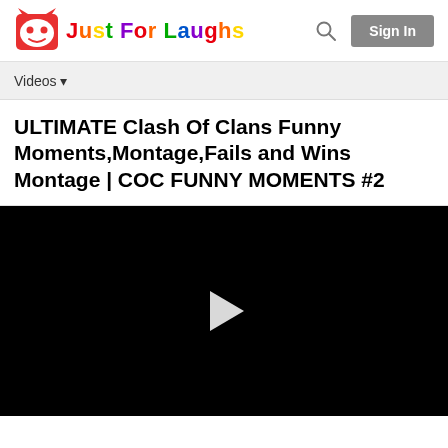[Figure (logo): Just For Laughs logo with devil emoji icon and rainbow colored text 'Just For Laughs']
Videos ▾
ULTIMATE Clash Of Clans Funny Moments,Montage,Fails and Wins Montage | COC FUNNY MOMENTS #2
[Figure (screenshot): Black video player with a white play button triangle in the center]